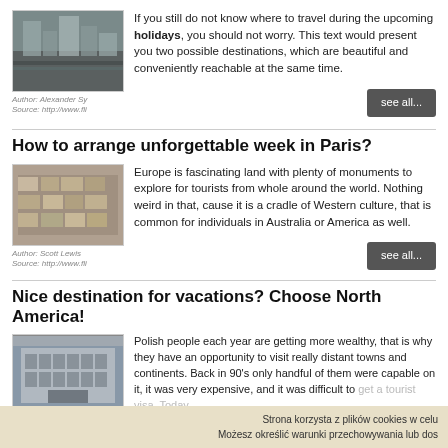[Figure (photo): Aerial city view, busy street intersection]
Author: Alexander Sy
Source: http://www.fli
If you still do not know where to travel during the upcoming holidays, you should not worry. This text would present you two possible destinations, which are beautiful and conveniently reachable at the same time.
How to arrange unforgettable week in Paris?
[Figure (photo): Crowded market or bazaar aerial view]
Author: Scott Lewis
Source: http://www.fli
Europe is fascinating land with plenty of monuments to explore for tourists from whole around the world. Nothing weird in that, cause it is a cradle of Western culture, that is common for individuals in Australia or America as well.
Nice destination for vacations? Choose North America!
[Figure (photo): Classical building facade, neoclassical architecture]
Polish people each year are getting more wealthy, that is why they have an opportunity to visit really distant towns and continents. Back in 90's only handful of them were capable on it, it was very expensive, and it was difficult to get a tourist visa. Today...
Strona korzysta z plików cookies w celu
Możesz określić warunki przechowywania lub dos